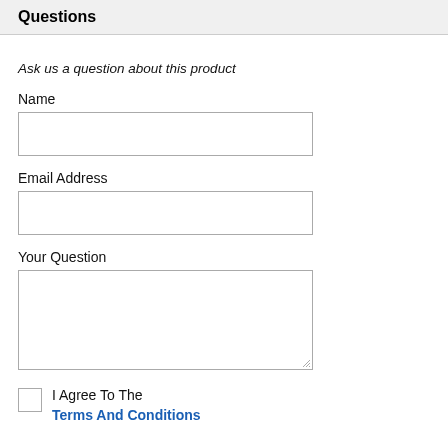Questions
Ask us a question about this product
Name
Email Address
Your Question
I Agree To The Terms And Conditions